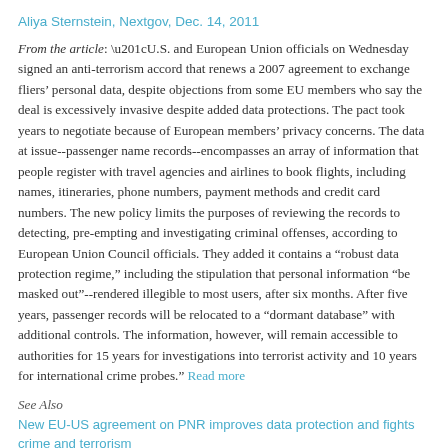Aliya Sternstein, Nextgov, Dec. 14, 2011
From the article: “U.S. and European Union officials on Wednesday signed an anti-terrorism accord that renews a 2007 agreement to exchange fliers’ personal data, despite objections from some EU members who say the deal is excessively invasive despite added data protections. The pact took years to negotiate because of European members’ privacy concerns. The data at issue--passenger name records--encompasses an array of information that people register with travel agencies and airlines to book flights, including names, itineraries, phone numbers, payment methods and credit card numbers. The new policy limits the purposes of reviewing the records to detecting, pre-empting and investigating criminal offenses, according to European Union Council officials. They added it contains a "robust data protection regime," including the stipulation that personal information "be masked out"--rendered illegible to most users, after six months. After five years, passenger records will be relocated to a "dormant database" with additional controls. The information, however, will remain accessible to authorities for 15 years for investigations into terrorist activity and 10 years for international crime probes." Read more
See Also
New EU-US agreement on PNR improves data protection and fights crime and terrorism